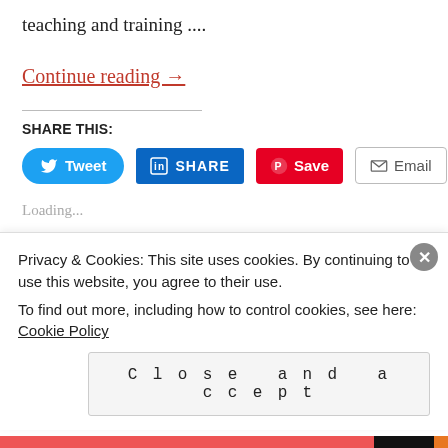teaching and training ....
Continue reading →
SHARE THIS:
[Figure (screenshot): Social share buttons: Tweet (Twitter, blue), SHARE (LinkedIn, dark blue), Save (Pinterest, red), Email (grey outline)]
Loading...
Posted in BODYBUILDING, FITNESS, NUTRITION
Privacy & Cookies: This site uses cookies. By continuing to use this website, you agree to their use.
To find out more, including how to control cookies, see here: Cookie Policy
Close and accept